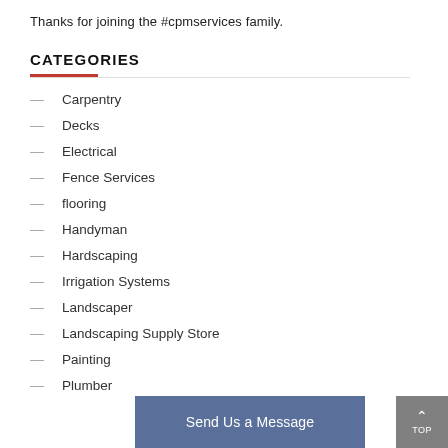Thanks for joining the #cpmservices family.
CATEGORIES
Carpentry
Decks
Electrical
Fence Services
flooring
Handyman
Hardscaping
Irrigation Systems
Landscaper
Landscaping Supply Store
Painting
Plumber